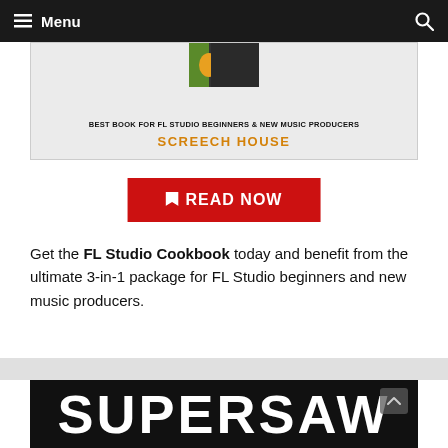Menu
[Figure (illustration): Advertisement banner for FL Studio Cookbook book. Shows book image at top, text 'BEST BOOK FOR FL STUDIO BEGINNERS & NEW MUSIC PRODUCERS' and 'SCREECH HOUSE' in orange.]
[Figure (other): Red 'READ NOW' button with bookmark icon]
Get the FL Studio Cookbook today and benefit from the ultimate 3-in-1 package for FL Studio beginners and new music producers.
[Figure (other): Black banner with white bold text 'SUPERSAW' and an up-chevron scroll button]